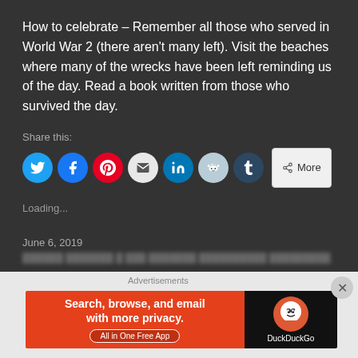How to celebrate – Remember all those who served in World War 2 (there aren't many left). Visit the beaches where many of the wrecks have been left reminding us of the day. Read a book written from those who survived the day.
Share this:
[Figure (infographic): Social share buttons: Twitter (blue), Facebook (blue), Pinterest (red), Email (light gray), LinkedIn (blue), Reddit (light blue), Tumblr (dark blue), and a More button]
Loading...
June 6, 2019
[Figure (infographic): DuckDuckGo advertisement banner: Search, browse, and email with more privacy. All in One Free App. Shows DuckDuckGo logo.]